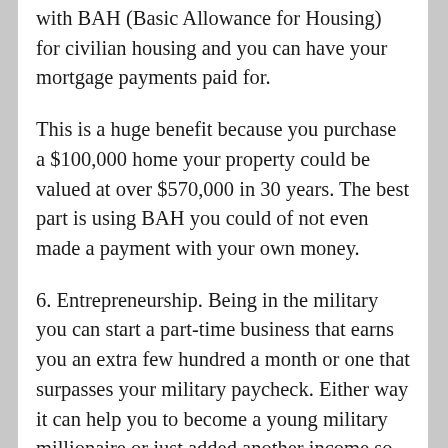with BAH (Basic Allowance for Housing) for civilian housing and you can have your mortgage payments paid for.
This is a huge benefit because you purchase a $100,000 home your property could be valued at over $570,000 in 30 years. The best part is using BAH you could of not even made a payment with your own money.
6. Entrepreneurship. Being in the military you can start a part-time business that earns you an extra few hundred a month or one that surpasses your military paycheck. Either way it can help you to become a young military millionaire or just added another income so you can invest more. There are also tax